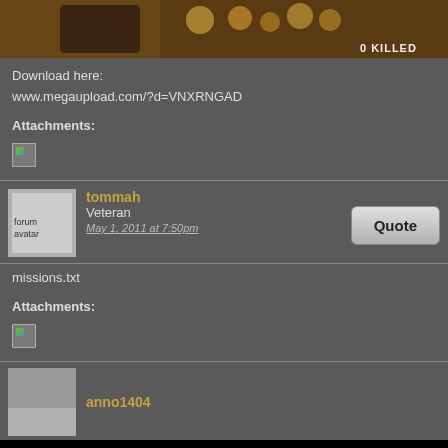[Figure (screenshot): Top portion of a forum post showing a game screenshot with text '0 KILLED' in the upper right area, dark brownish gaming image]
Download here:
www.megaupload.com/?d=VNXRNGAD
Attachments:
[Figure (illustration): Broken/missing image icon placeholder for attachment]
tommah
Veteran
May 1, 2011 at 7:50pm
missions.txt
Attachments:
[Figure (illustration): Broken/missing image icon placeholder for attachment]
anno1404